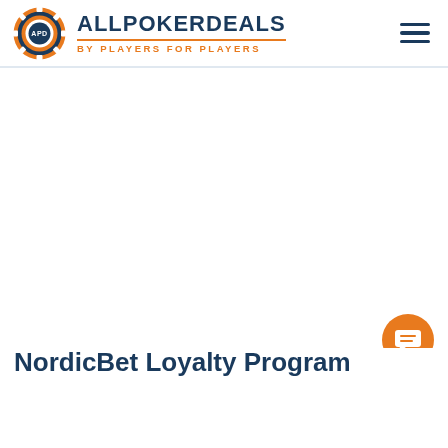[Figure (logo): AllPokerDeals logo with poker chip icon and text 'ALLPOKERDEALS BY PLAYERS FOR PLAYERS']
NordicBet Loyalty Program